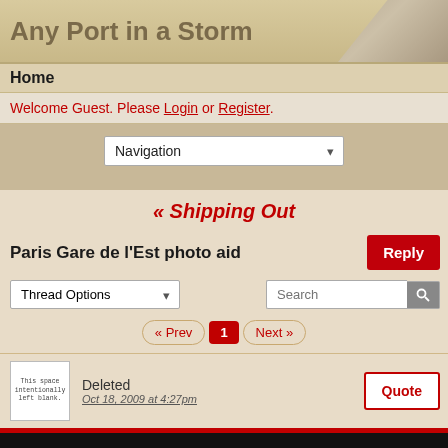Any Port in a Storm
Home
Welcome Guest. Please Login or Register.
Navigation
« Shipping Out
Paris Gare de l'Est photo aid
Thread Options
Search
« Prev 1 Next »
Deleted
Oct 18, 2009 at 4:27pm